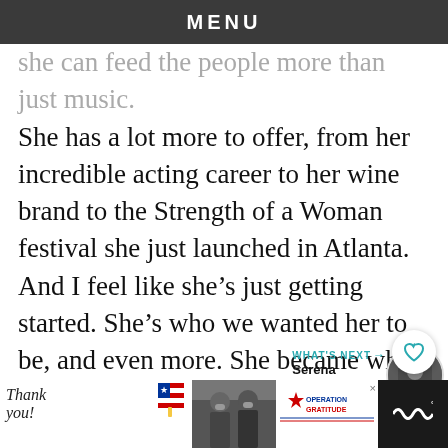MENU
she can feed the people more than just music. She has a lot more to offer, from her incredible acting career to her wine brand to the Strength of a Woman festival she just launched in Atlanta. And I feel like she’s just getting started. She’s who we wanted her to be, and even more. She became who she’s supposed to be.”
[Figure (screenshot): WHAT'S NEXT arrow label with Serena Williams thumbnail and article image below]
[Figure (photo): Partial photo of a person, article image]
[Figure (photo): Advertisement bar: Thank you message with US flag, soldiers photo, Operation Gratitude logo, and TIDAL icon on dark background]